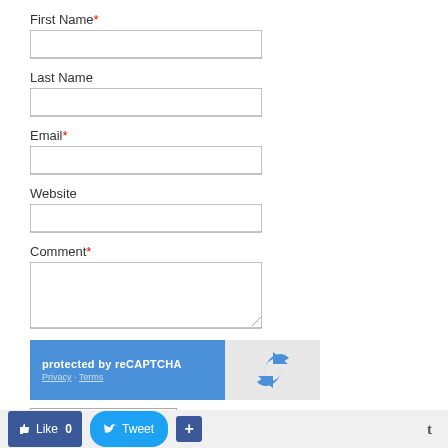First Name*
[Figure (other): Empty text input field for First Name]
Last Name
[Figure (other): Empty text input field for Last Name]
Email*
[Figure (other): Empty text input field for Email]
Website
[Figure (other): Empty text input field for Website]
Comment*
[Figure (other): Empty textarea for Comment]
[Figure (other): reCAPTCHA widget: protected by reCAPTCHA, Privacy - Terms, with Google reCAPTCHA logo]
Submit Comment
Like 0  Tweet  +  t